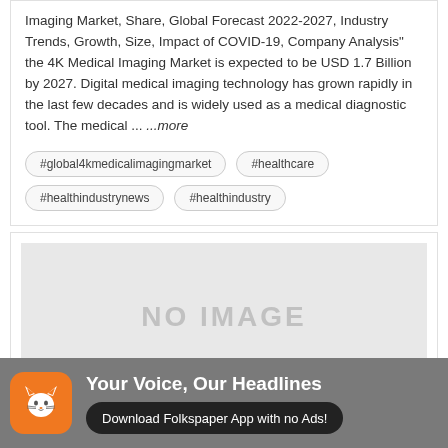Imaging Market, Share, Global Forecast 2022-2027, Industry Trends, Growth, Size, Impact of COVID-19, Company Analysis" the 4K Medical Imaging Market is expected to be USD 1.7 Billion by 2027. Digital medical imaging technology has grown rapidly in the last few decades and is widely used as a medical diagnostic tool. The medical ... ...more
#global4kmedicalimagingmarket
#healthcare
#healthindustrynews
#healthindustry
[Figure (other): No image placeholder box with grey background]
[Figure (other): Folkspaper app advertisement banner with orange cat icon, headline 'Your Voice, Our Headlines', and download button 'Download Folkspaper App with no Ads!']